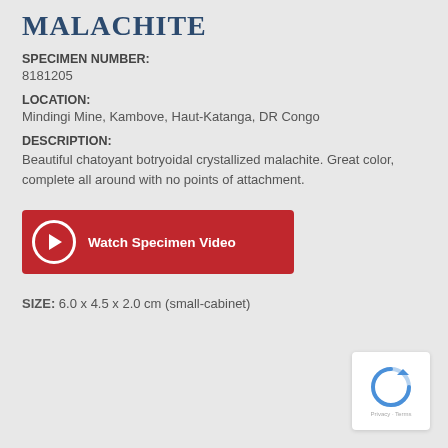MALACHITE
SPECIMEN NUMBER:
8181205
LOCATION:
Mindingi Mine, Kambove, Haut-Katanga, DR Congo
DESCRIPTION:
Beautiful chatoyant botryoidal crystallized malachite. Great color, complete all around with no points of attachment.
[Figure (other): Red button with play triangle icon and text 'Watch Specimen Video']
SIZE: 6.0 x 4.5 x 2.0 cm (small-cabinet)